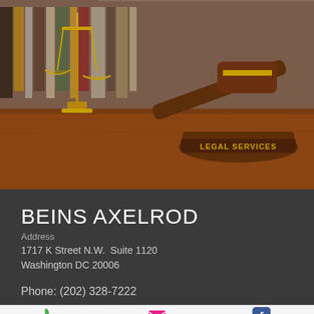[Figure (photo): Photo of a judge's gavel on a wooden base labeled 'LEGAL SERVICES' with scales of justice in the background and law books on shelves]
BEINS AXELROD
Address
1717 K Street N.W.  Suite 1120
Washington DC 20006
Phone: (202) 328-7222
Phone   Email   Facebook